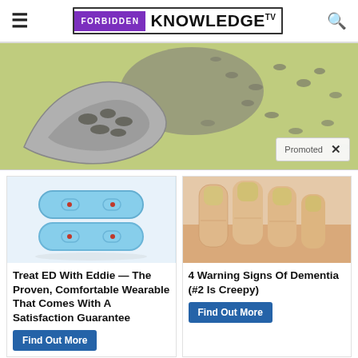FORBIDDEN KNOWLEDGE TV
[Figure (photo): Close-up photo of seeds on a spoon with a green background, promotional banner image]
Promoted ×
[Figure (photo): Photo of light blue magnetic rings stacked on each other - Eddie ED wearable device]
Treat ED With Eddie — The Proven, Comfortable Wearable That Comes With A Satisfaction Guarantee
Find Out More
[Figure (photo): Close-up photo of fingers with yellowish nails - dementia warning signs]
4 Warning Signs Of Dementia (#2 Is Creepy)
Find Out More